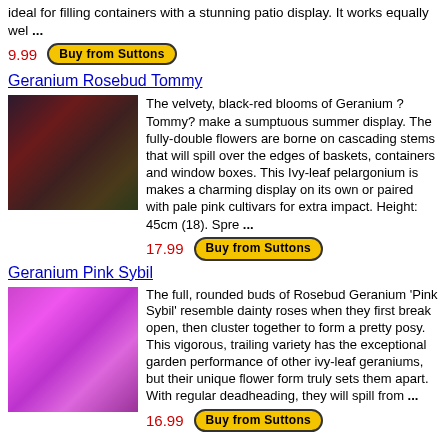ideal for filling containers with a stunning patio display. It works equally wel ...
9.99
Buy from Suttons
Geranium Rosebud Tommy
[Figure (photo): Dark red/maroon velvety blooms of Geranium Rosebud Tommy]
The velvety, black-red blooms of Geranium ? Tommy? make a sumptuous summer display. The fully-double flowers are borne on cascading stems that will spill over the edges of baskets, containers and window boxes. This Ivy-leaf pelargonium is makes a charming display on its own or paired with pale pink cultivars for extra impact. Height: 45cm (18). Spre ...
17.99
Buy from Suttons
Geranium Pink Sybil
[Figure (photo): Bright pink/purple blooms of Geranium Pink Sybil]
The full, rounded buds of Rosebud Geranium 'Pink Sybil' resemble dainty roses when they first break open, then cluster together to form a pretty posy. This vigorous, trailing variety has the exceptional garden performance of other ivy-leaf geraniums, but their unique flower form truly sets them apart. With regular deadheading, they will spill from ...
16.99
Buy from Suttons